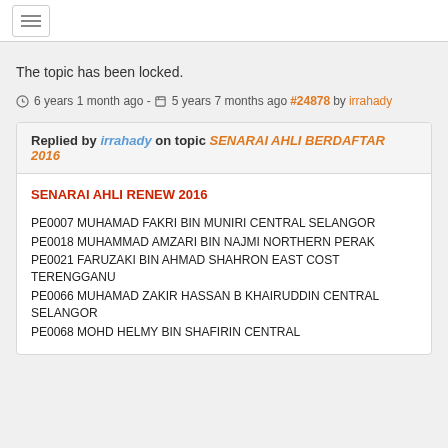[hamburger menu icon]
The topic has been locked.
6 years 1 month ago - 5 years 7 months ago #24878 by irrahady
Replied by irrahady on topic SENARAI AHLI BERDAFTAR 2016
SENARAI AHLI RENEW 2016
PE0007 MUHAMAD FAKRI BIN MUNIRI CENTRAL SELANGOR
PE0018 MUHAMMAD AMZARI BIN NAJMI NORTHERN PERAK
PE0021 FARUZAKI BIN AHMAD SHAHRON EAST COST TERENGGANU
PE0066 MUHAMAD ZAKIR HASSAN B KHAIRUDDIN CENTRAL SELANGOR
PE0068 MOHD HELMY BIN SHAFIRIN CENTRAL SELANGOR